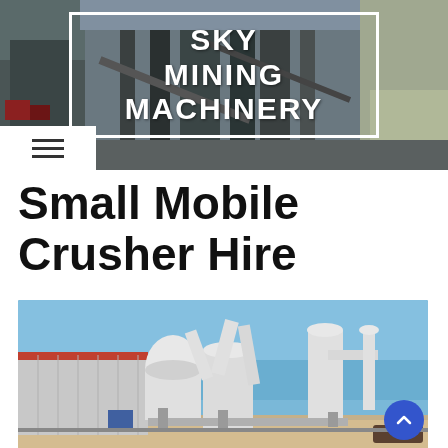SKY MINING MACHINERY
Small Mobile Crusher Hire
[Figure (photo): Industrial mobile crushing plant with white cylindrical hoppers, pipes, and processing equipment set against a clear blue sky, with a warehouse building visible in background on a sandy/dirt ground.]